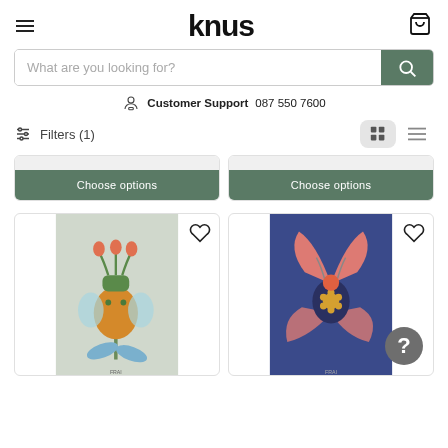knus
What are you looking for?
Customer Support  087 550 7600
Filters (1)
[Figure (screenshot): Two product cards with 'Choose options' green buttons, partially visible at top]
[Figure (illustration): Illustrated whimsical creature like a bug/plant hybrid on light blue background, labeled FRAI]
[Figure (illustration): Illustrated flying bug creature on dark blue background, labeled FRAI]